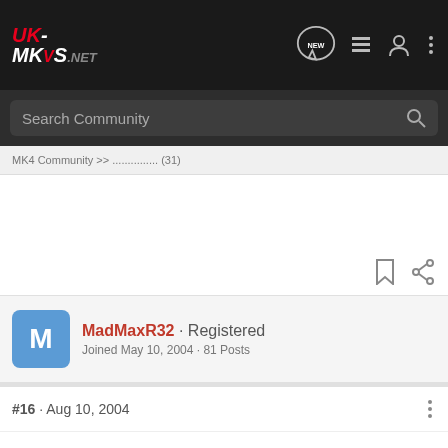[Figure (screenshot): Navigation bar of UK-MKVS.NET forum website with dark background, logo, new message icon, list icon, user icon, and more options icon]
[Figure (screenshot): Search bar with 'Search Community' placeholder text and search icon on dark background]
MK4 Community >> ... (31)
[Figure (screenshot): White space area with bookmark and share icons at bottom right]
MadMaxR32 · Registered
Joined May 10, 2004 · 81 Posts
#16 · Aug 10, 2004
so let me get this right, is there or isn't there a new software to download... but to be honest i... since
[Figure (screenshot): Advertisement overlay showing an ad for 'rollic' game 'They Are Coming!' with Download button]